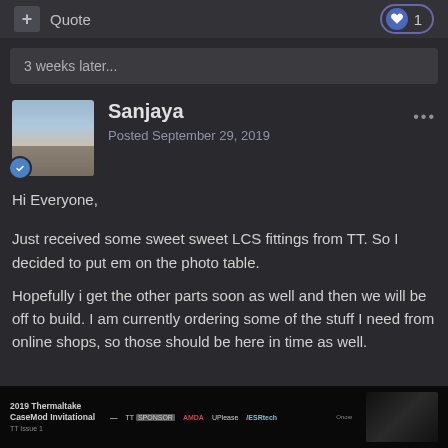+ Quote | ♥ 1
3 weeks later...
Sanjaya
Posted September 29, 2019
Hi Everyone,
Just received some sweet sweet LCS fittings from TT. So I decided to put em on the photo table.
Hopefully i get the other parts soon as well and then we will be off to build. I am currently ordering some of the stuff I need from online shops, so those should be here in time as well.
[Figure (photo): 2019 Thermaltake CaseMod Invitational banner with TT, AMD, VPrime, ESRtech, and Dnano logos]